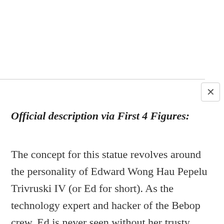Official description via First 4 Figures:
The concept for this statue revolves around the personality of Edward Wong Hau Pepelu Trivruski IV (or Ed for short). As the technology expert and hacker of the Bebop crew, Ed is never seen without her trusty computer and goggles, which are attached to her computer and allows